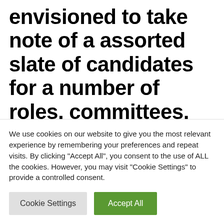envisioned to take note of a assorted slate of candidates for a number of roles, committees, and administration pursuits. Selection Lab enforces the measure by means of common month-to-month
We use cookies on our website to give you the most relevant experience by remembering your preferences and repeat visits. By clicking "Accept All", you consent to the use of ALL the cookies. However, you may visit "Cookie Settings" to provide a controlled consent.